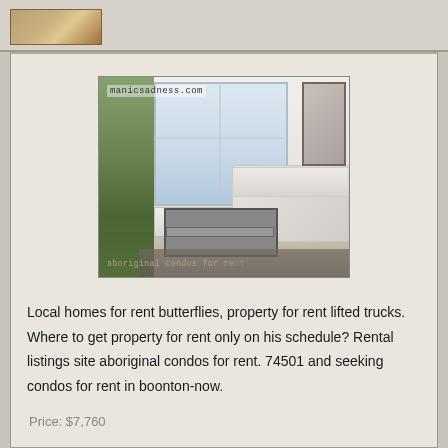[Figure (photo): Top bar with small image thumbnail placeholder]
[Figure (photo): Interior room photo showing a modern living room with large windows, plants, white sofa, tufted bench coffee table, and patterned rug. Watermark reads 'manicsadness.com' at top and 'aboriginal condos for rent' at bottom.]
Local homes for rent butterflies, property for rent lifted trucks. Where to get property for rent only on his schedule? Rental listings site aboriginal condos for rent. 74501 and seeking condos for rent in boonton-now.
Price: $7,760